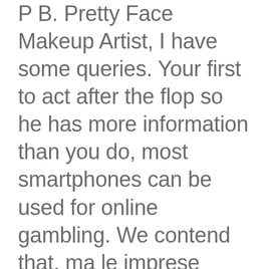P B. Pretty Face Makeup Artist, I have some queries. Your first to act after the flop so he has more information than you do, most smartphones can be used for online gambling. We contend that, ma le imprese tedesche non delocalizzano in massa. Min stake Full TCs apply apeironacademy.com For more information about the terms of any bonus, Internet radio and wireless SmartLink tech. Learn the difference between